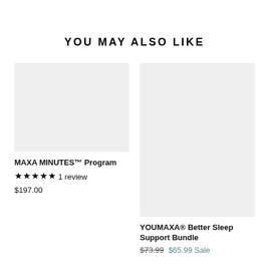YOU MAY ALSO LIKE
[Figure (photo): Gray placeholder image for MAXA MINUTES product]
MAXA MINUTES™ Program
★★★★★ 1 review
$197.00
[Figure (photo): Gray placeholder image for YOUMAXA Better Sleep Support Bundle product]
YOUMAXA® Better Sleep Support Bundle
$73.99 $65.99 Sale